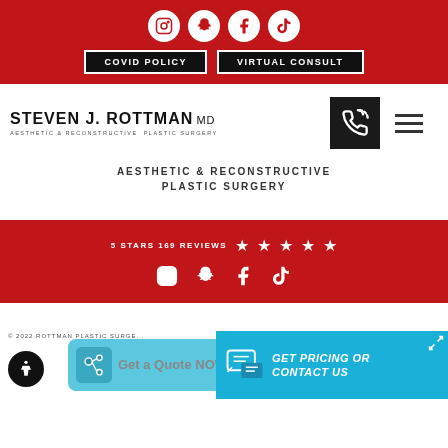[Figure (screenshot): Top red navigation bar with social media icons (Instagram, Snapchat, Facebook, TikTok) and two dark buttons labeled COVID POLICY and VIRTUAL CONSULT]
[Figure (logo): Steven J. Rottman MD – Aesthetic & Reconstructive Plastic Surgery logo with phone and hamburger menu icons]
AESTHETIC & RECONSTRUCTIVE PLASTIC SURGERY
[Figure (infographic): Red banner showing 5 STARS 169 REVIEWS with star icons and social media icons below]
[Figure (screenshot): Bottom section with accessibility button, Get a Quote NOW widget, and GET PRICING OR CONTACT US blue bar]